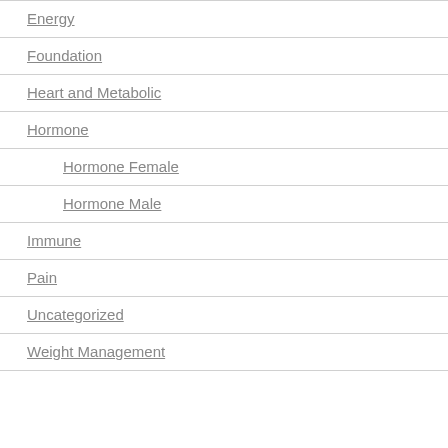Energy
Foundation
Heart and Metabolic
Hormone
Hormone Female
Hormone Male
Immune
Pain
Uncategorized
Weight Management